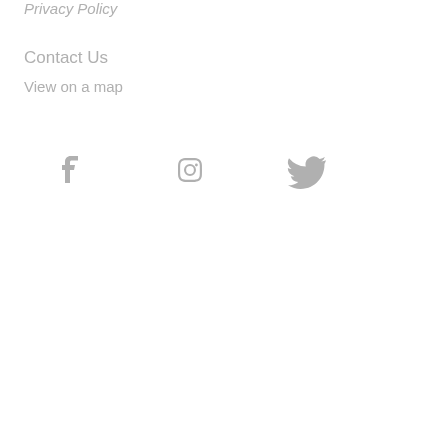Privacy Policy
Contact Us
View on a map
[Figure (illustration): Social media icons: Facebook, Instagram, Twitter, displayed in gray]